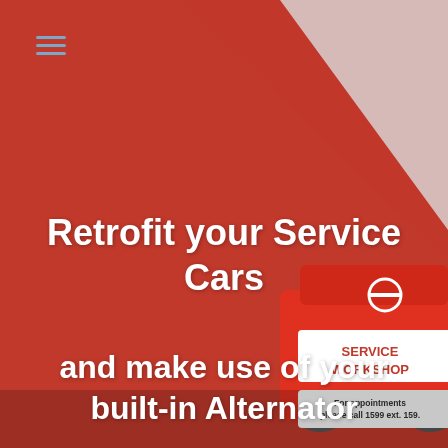[Figure (photo): Red background with diagonal white/light grey triangle in upper right, and a red Nissan service van visible on the right side with text 'SERVICE WORKSHOP' and 'For appointments please call 1599 ext. 159.' on its rear door.]
Retrofit your Service Cars and make use of your built-in Alternator